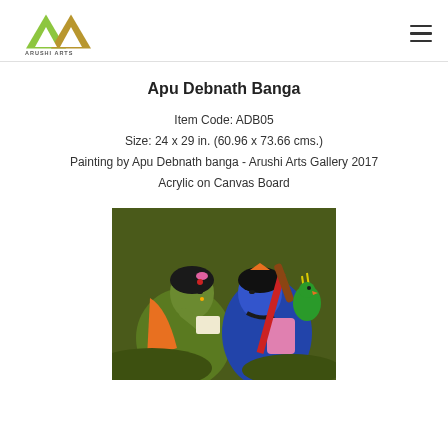Arushi Arts
Apu Debnath Banga
Item Code: ADB05
Size: 24 x 29 in. (60.96 x 73.66 cms.)
Painting by Apu Debnath banga - Arushi Arts Gallery 2017
Acrylic on Canvas Board
[Figure (illustration): Indian folk-style painting showing two figures — a dark-skinned woman on the left in traditional attire with jewelry, and a blue-skinned figure on the right (likely Krishna) holding a flute, with a green parrot in the background, on an olive-green background.]